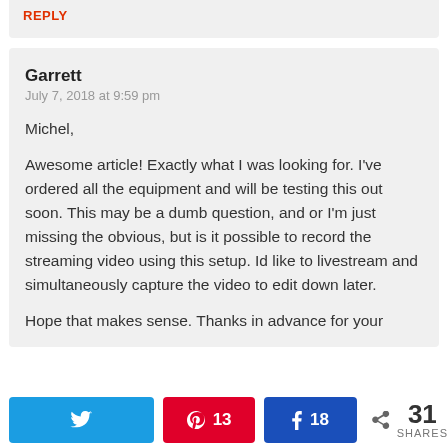REPLY
Garrett
July 7, 2018 at 9:59 pm
Michel,
Awesome article! Exactly what I was looking for. I've ordered all the equipment and will be testing this out soon. This may be a dumb question, and or I'm just missing the obvious, but is it possible to record the streaming video using this setup. Id like to livestream and simultaneously capture the video to edit down later.
Hope that makes sense. Thanks in advance for your
13 shares Pinterest | 18 shares Facebook | 31 SHARES